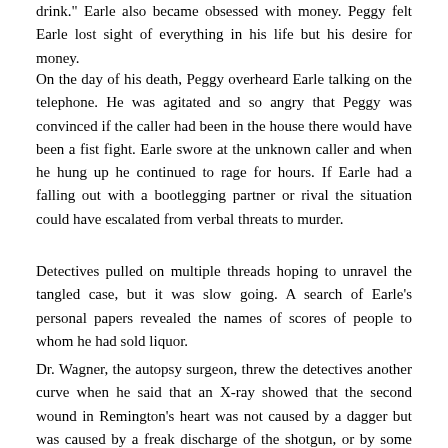drink." Earle also became obsessed with money. Peggy felt Earle lost sight of everything in his life but his desire for money.
On the day of his death, Peggy overheard Earle talking on the telephone. He was agitated and so angry that Peggy was convinced if the caller had been in the house there would have been a fist fight. Earle swore at the unknown caller and when he hung up he continued to rage for hours. If Earle had a falling out with a bootlegging partner or rival the situation could have escalated from verbal threats to murder.
Detectives pulled on multiple threads hoping to unravel the tangled case, but it was slow going. A search of Earle's personal papers revealed the names of scores of people to whom he had sold liquor.
Dr. Wagner, the autopsy surgeon, threw the detectives another curve when he said that an X-ray showed that the second wound in Remington's heart was not caused by a dagger but was caused by a freak discharge of the shotgun, or by some other weapon that had not been identified.